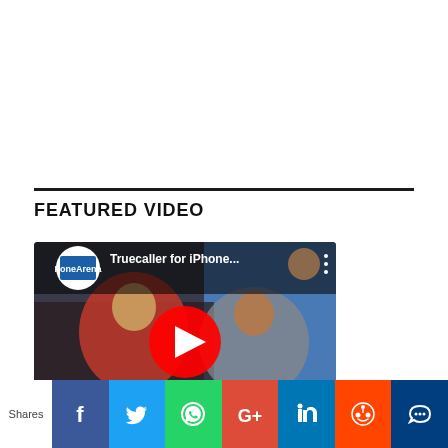FEATURED VIDEO
[Figure (screenshot): YouTube video thumbnail showing two people with 'Truecaller for iPhone...' title and play button, with FoneArena channel logo]
[Figure (infographic): Social sharing bar with icons for Facebook, Twitter, WhatsApp, Google+, LinkedIn, Reddit, and another social platform, with 'Shares' label on left]